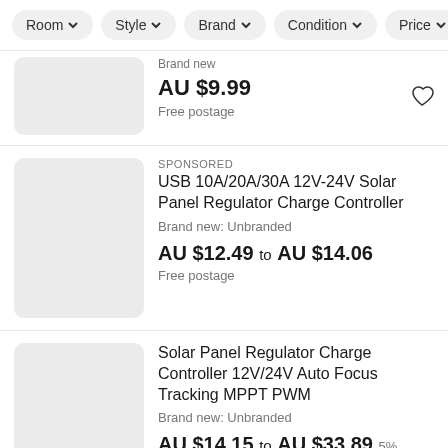Room | Style | Brand | Condition | Price
Brand new
AU $9.99
Free postage
SPONSORED
USB 10A/20A/30A 12V-24V Solar Panel Regulator Charge Controller
Brand new: Unbranded
AU $12.49 to AU $14.06
Free postage
Solar Panel Regulator Charge Controller 12V/24V Auto Focus Tracking MPPT PWM
Brand new: Unbranded
AU $14.15 to AU $33.89  5% savings
Free postage
Caravan Door Flyscreen - Insect PVC